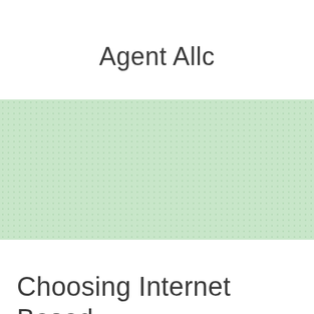Agent Allc
[Figure (other): Light green dotted/textured rectangle background element]
Choosing Internet Based Casino Game